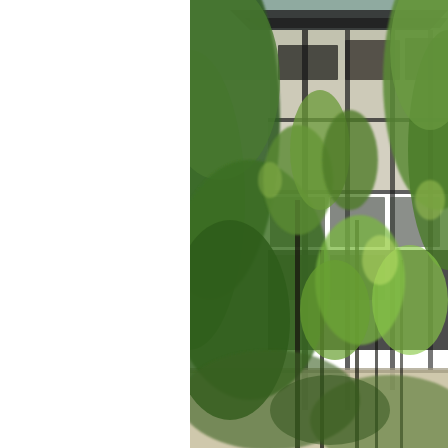[Figure (photo): Exterior photograph of a modern multi-story building partially obscured by lush tropical trees and palm-like vegetation. The building features dark-framed glass windows, concrete/stone cladding panels, and a dark sloped roof. Green foliage fills the foreground and sides. A light-colored wall or fence is visible at the bottom. The image is slightly blurred/soft focus. The left portion of the page is white (blank).]